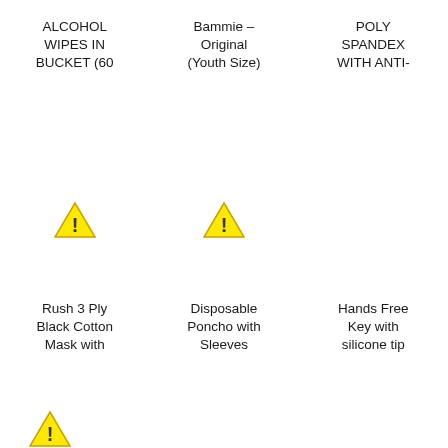ALCOHOL WIPES IN BUCKET (60
Bammie – Original (Youth Size)
POLY SPANDEX WITH ANTI-
[Figure (illustration): Warning triangle icon with exclamation mark]
[Figure (illustration): Warning triangle icon with exclamation mark]
Rush 3 Ply Black Cotton Mask with
Disposable Poncho with Sleeves
Hands Free Key with silicone tip
[Figure (illustration): Warning triangle icon with exclamation mark]